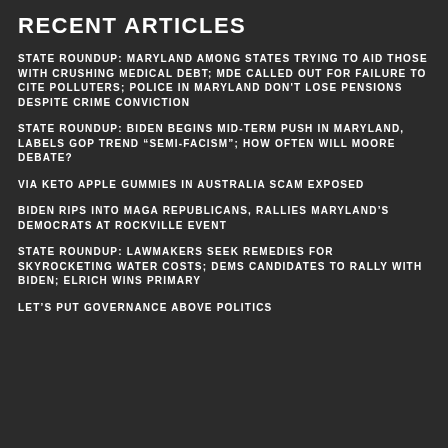RECENT ARTICLES
STATE ROUNDUP: MARYLAND AMONG STATES TRYING TO AID THOSE WITH CRUSHING MEDICAL DEBT; MDE CALLED OUT FOR FAILURE TO CITE POLLUTERS; POLICE IN MARYLAND DON'T LOSE PENSIONS DESPITE CRIME CONVICTION
STATE ROUNDUP: BIDEN BEGINS MID-TERM PUSH IN MARYLAND, LABELS GOP TREND “SEMI-FACISM”; HOW OFTEN WILL MOORE DEBATE?
VIA KETO APPLE GUMMIES IN AUSTRALIA SCAM EXPOSED
BIDEN RIPS INTO MAGA REPUBLICANS, RALLIES MARYLAND’S DEMOCRATS AT ROCKVILLE EVENT
STATE ROUNDUP: LAWMAKERS SEEK REMEDIES FOR SKYROCKETING WATER COSTS; DEMS CANDIDATES TO RALLY WITH BIDEN; ELRICH WINS PRIMARY
LET’S PUT GOVERNANCE ABOVE POLITICS